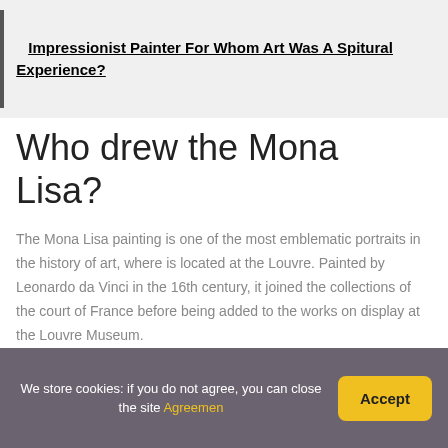Impressionist Painter For Whom Art Was A Spitural Experience?
Who drew the Mona Lisa?
The Mona Lisa painting is one of the most emblematic portraits in the history of art, where is located at the Louvre. Painted by Leonardo da Vinci in the 16th century, it joined the collections of the court of France before being added to the works on display at the Louvre Museum.
Why is France known for
We store cookies: if you do not agree, you can close the site Agreemen